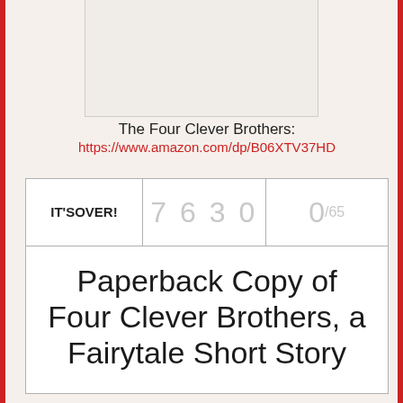[Figure (illustration): Partial book image at top of page]
The Four Clever Brothers:
https://www.amazon.com/dp/B06XTV37HD
| IT'S OVER! | 7 6 3 0 | 0/65 |
| --- | --- | --- |
Paperback Copy of Four Clever Brothers, a Fairytale Short Story